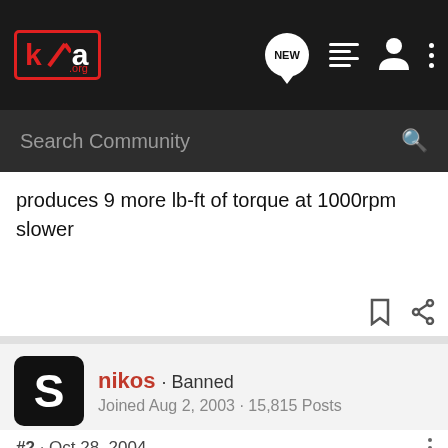[Figure (screenshot): k20a.org community forum navigation bar with logo, NEW chat bubble, list icon, user icon, and vertical dots menu]
Search Community
produces 9 more lb-ft of torque at 1000rpm slower
nikos · Banned
Joined Aug 2, 2003 · 15,815 Posts
#2 · Oct 28, 2004
cybernationRSX said:
what is the differance between the base rsx k20 and the civic si k20? all i know is the rsx has a dual stage intake manifold that produces 9